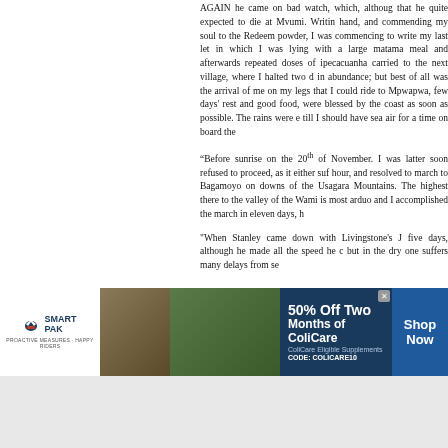AGAIN he came on bad watch, which, although that he quite expected to die at Mvumi. Writing hand, and commending my soul to the Redeemer powder, I was commencing to write my last let in which I was lying with a large matama meal and afterwards repeated doses of ipecacuanha carried to the next village, where I halted two d in abundance; but best of all was the arrival of me on my legs that I could ride to Mpwapwa, few days' rest and good food, were blessed by the coast as soon as possible. The rains were e till I should have sea air for a time on board the
“Before sunrise on the 20th of November. I was latter soon refused to proceed, as it either suf hour, and resolved to march to Bagamoyo on downs of the Usagara Mountains. The highest there to the valley of the Wami is most arduo and I accomplished the march in eleven days, h
"When Stanley came down with Livingstone's J five days, although he made all the speed he c but in the dry one suffers many delays from se
[Figure (infographic): SmartPak advertisement banner: 50% Off Two Months of ColiCare, ColiCare Eligible Supplements, CODE: COLICARE10, with Shop Now button. Shows horse and rider image and product image.]